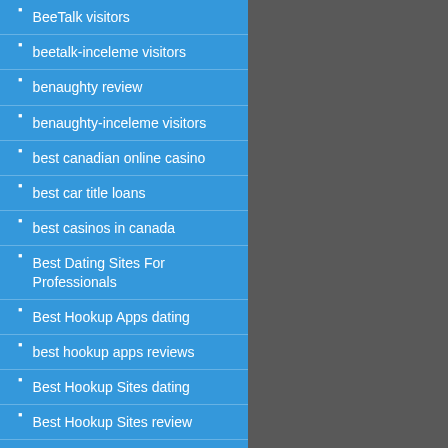BeeTalk visitors
beetalk-inceleme visitors
benaughty review
benaughty-inceleme visitors
best canadian online casino
best car title loans
best casinos in canada
Best Dating Sites For Professionals
Best Hookup Apps dating
best hookup apps reviews
Best Hookup Sites dating
Best Hookup Sites review